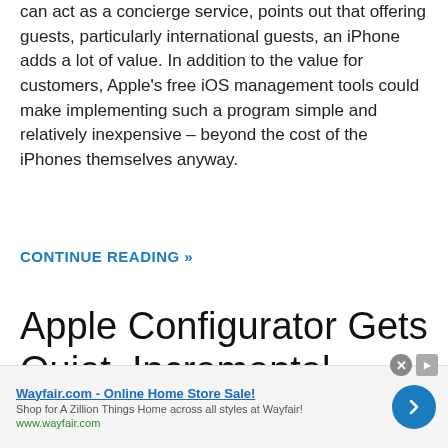can act as a concierge service, points out that offering guests, particularly international guests, an iPhone adds a lot of value. In addition to the value for customers, Apple's free iOS management tools could make implementing such a program simple and relatively inexpensive – beyond the cost of the iPhones themselves anyway.
CONTINUE READING »
Apple Configurator Gets Quiet, Incremental Update
Wayfair.com - Online Home Store Sale! Shop for A Zillion Things Home across all styles at Wayfair! www.wayfair.com